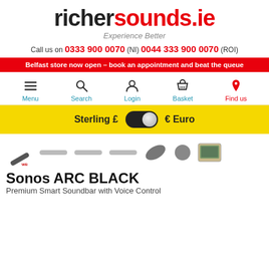[Figure (logo): richersounds.ie logo with tagline 'Experience Better']
Call us on 0333 900 0070 (NI) 0044 333 900 0070 (ROI)
Belfast store now open – book an appointment and beat the queue
[Figure (infographic): Navigation bar with Menu, Search, Login, Basket, Find us icons]
[Figure (infographic): Currency toggle bar showing Sterling £ toggle € Euro on yellow background]
[Figure (photo): Product thumbnail images of Sonos ARC BLACK soundbar components]
Sonos ARC BLACK
Premium Smart Soundbar with Voice Control